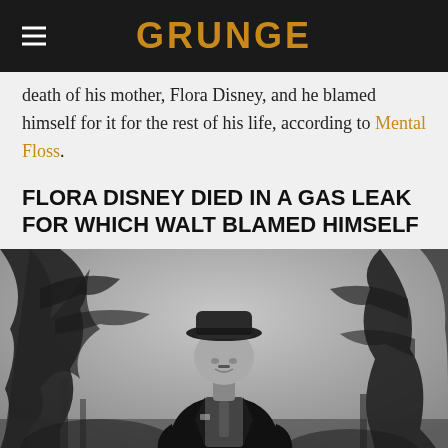GRUNGE
death of his mother, Flora Disney, and he blamed himself for it for the rest of his life, according to Mental Floss.
FLORA DISNEY DIED IN A GAS LEAK FOR WHICH WALT BLAMED HIMSELF
[Figure (photo): Black and white photograph of Walt Disney wearing a hat and overcoat, standing outdoors among bare trees]